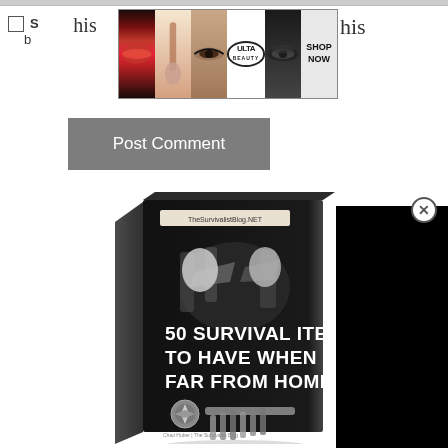[Figure (screenshot): Top grey border bar of a web form]
S... his b...
[Figure (screenshot): Ulta beauty advertisement banner with makeup images: lips, brush, eye, Ulta logo, smoky eye, SHOP NOW button]
[Figure (other): Post Comment button - grey rectangular button]
[Figure (photo): Book cover: TheSurvivalistBlog.NET - 50 SURVIVAL ITEMS TO HAVE WHEN FAR FROM HOME - dark background with survival tools]
[Figure (screenshot): Black overlay panel (video/ad overlay)]
[Figure (other): Close button (X in circle) for the overlay]